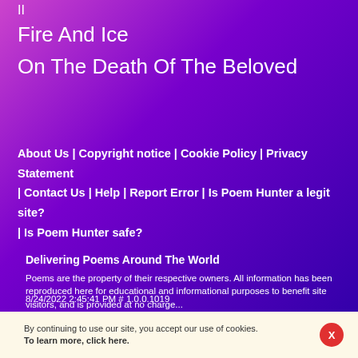II
Fire And Ice
On The Death Of The Beloved
About Us  | Copyright notice  | Cookie Policy  | Privacy Statement  | Contact Us  | Help  | Report Error  | Is Poem Hunter a legit site?  | Is Poem Hunter safe?
Delivering Poems Around The World
Poems are the property of their respective owners. All information has been reproduced here for educational and informational purposes to benefit site visitors, and is provided at no charge...
8/24/2022 2:45:41 PM # 1.0.0.1019
By continuing to use our site, you accept our use of cookies. To learn more, click here.